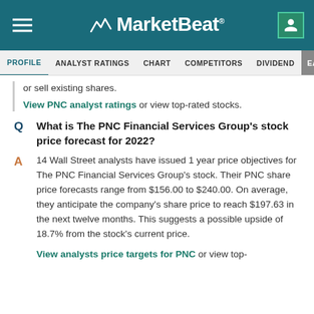MarketBeat
PROFILE  ANALYST RATINGS  CHART  COMPETITORS  DIVIDEND  EARNINGS
or sell existing shares. View PNC analyst ratings or view top-rated stocks.
What is The PNC Financial Services Group's stock price forecast for 2022?
14 Wall Street analysts have issued 1 year price objectives for The PNC Financial Services Group's stock. Their PNC share price forecasts range from $156.00 to $240.00. On average, they anticipate the company's share price to reach $197.63 in the next twelve months. This suggests a possible upside of 18.7% from the stock's current price.
View analysts price targets for PNC or view top-